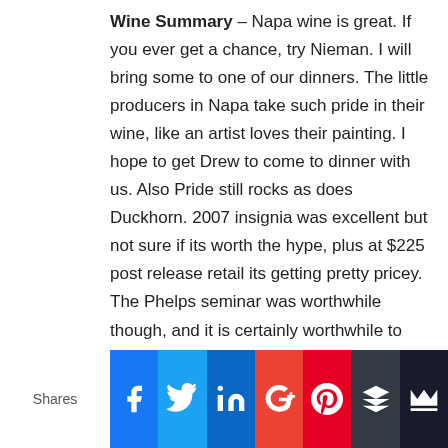Wine Summary – Napa wine is great. If you ever get a chance, try Nieman. I will bring some to one of our dinners. The little producers in Napa take such pride in their wine, like an artist loves their painting. I hope to get Drew to come to dinner with us. Also Pride still rocks as does Duckhorn. 2007 insignia was excellent but not sure if its worth the hype, plus at $225 post release retail its getting pretty pricey. The Phelps seminar was worthwhile though, and it is certainly worthwhile to taste the wine parker awarded 100 points. If you are going to napa and want to really enjoy yourself, prepare to spend big bucks. Willamette on the other hand is a lot less expensive but I really didn't love the wines all that much. It was nothing like napa in that it wasn't nearly as
Shares | Facebook | Twitter | LinkedIn | Google+ | Pinterest | Buffer | Crown